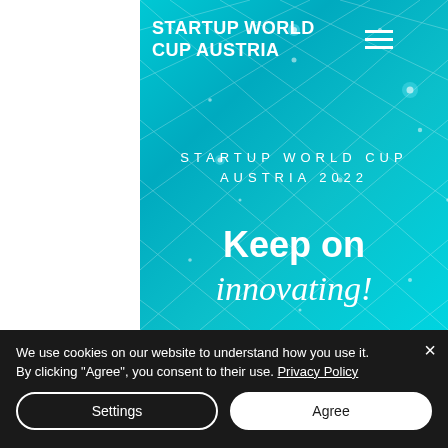[Figure (screenshot): Startup World Cup Austria 2022 website screenshot with teal/turquoise background featuring a network grid pattern with glowing nodes, showing the text 'STARTUP WORLD CUP AUSTRIA 2022', 'Keep on', and 'innovating!' in white, plus a hamburger menu icon in the top right]
STARTUP WORLD CUP AUSTRIA
STARTUP WORLD CUP AUSTRIA 2022
Keep on innovating!
We use cookies on our website to understand how you use it. By clicking "Agree", you consent to their use. Privacy Policy
Settings
Agree